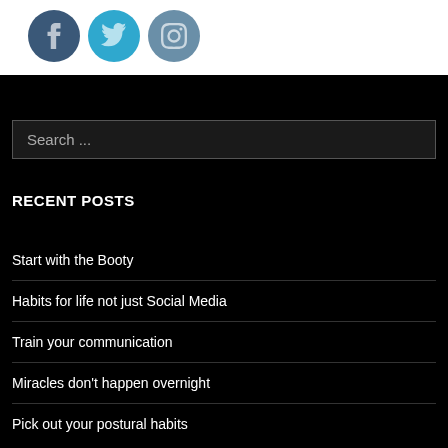[Figure (illustration): Three social media icon circles: Facebook (dark blue), Twitter (light blue), Instagram (grey-blue) on a white background strip]
Search ...
RECENT POSTS
Start with the Booty
Habits for life not just Social Media
Train your communication
Miracles don't happen overnight
Pick out your postural habits